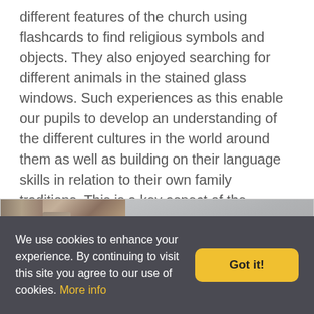different features of the church using flashcards to find religious symbols and objects. They also enjoyed searching for different animals in the stained glass windows. Such experiences as this enable our pupils to develop an understanding of the different cultures in the world around them as well as building on their language skills in relation to their own family traditions. This is a key aspect of the Foundation Stage Curriculum.
[Figure (photo): Two-panel image: left panel shows a stone church exterior with architectural detail and a dark car visible at the bottom; right panel is a grey/blurred area.]
We use cookies to enhance your experience. By continuing to visit this site you agree to our use of cookies. More info